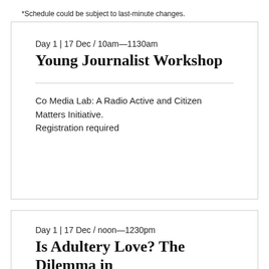*Schedule could be subject to last-minute changes.
Day 1 | 17 Dec / 10am—1130am
Young Journalist Workshop
Co Media Lab: A Radio Active and Citizen Matters Initiative.
Registration required
Day 1 | 17 Dec / noon—1230pm
Is Adultery Love? The Dilemma in